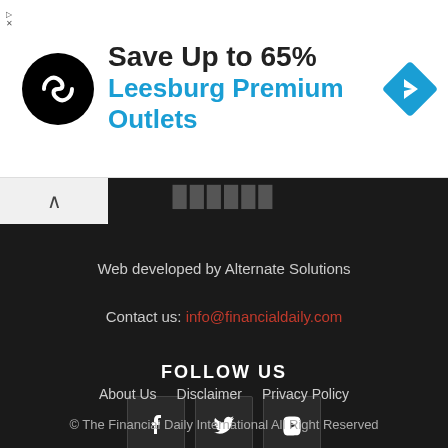[Figure (infographic): Advertisement banner: black circular logo with infinity-like arrows, text 'Save Up to 65%' in black, 'Leesburg Premium Outlets' in blue, and a blue diamond navigation icon on the right.]
Web developed by Alternate Solutions
Contact us: info@financialdaily.com
FOLLOW US
[Figure (infographic): Three social media icon boxes: Facebook (f), Twitter (bird), YouTube (play button)]
About Us   Disclaimer   Privacy Policy
© The Financial Daily International All Right Reserved